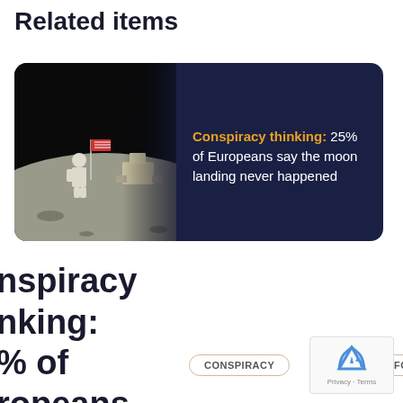Related items
[Figure (illustration): A card with a photo of an astronaut on the moon with an American flag and lunar module on the left half, and dark navy background with text on the right half.]
Conspiracy thinking: 25% of Europeans say the moon landing never happened
nspiracy nking: % of ropeans y the oon anding er
CONSPIRACY
MISINFORMATION